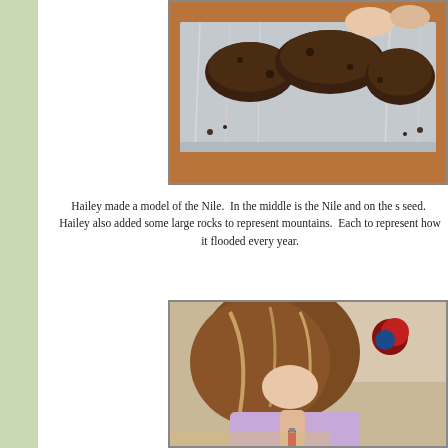[Figure (photo): A hands-on student project showing a model of the Nile River in a foil-lined tray with soil and rocks on a wooden table surface. Hands are visible at the top.]
Hailey made a model of the Nile.  In the middle is the Nile and on the sides is seed.  Hailey also added some large rocks to represent mountains.  Each to represent how it flooded every year.
[Figure (photo): A young girl with brown hair leaning over and drawing or writing with a red crayon or marker, wearing a light purple shirt. Background shows a room with items on shelves.]